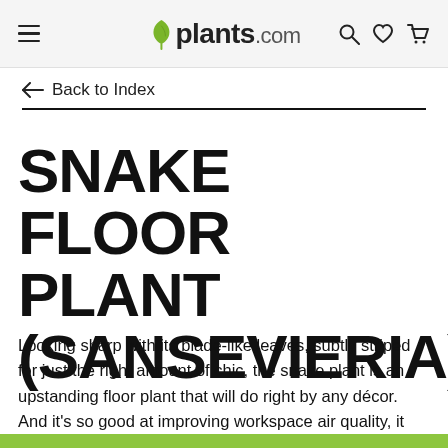plants.com
← Back to Index
SNAKE FLOOR PLANT (SANSEVIERIA)
Looking sharp with its blade-like leaves, subtly striped for just the right amount of chic, the snake plant is an upstanding floor plant that will do right by any décor. And it's so good at improving workspace air quality, it can actually cut ventilation needs. Available with your choice of planter.